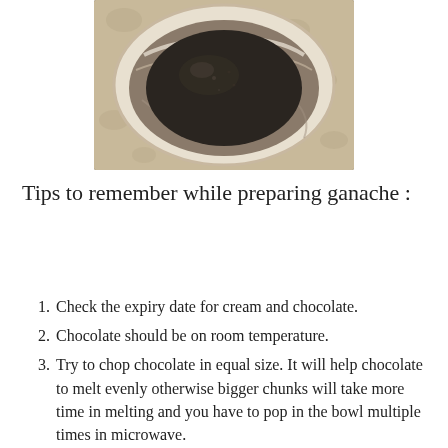[Figure (photo): Top-down view of a bowl containing dark chocolate ganache, placed on a floral patterned surface]
Tips to remember while preparing ganache :
Check the expiry date for cream and chocolate.
Chocolate should be on room temperature.
Try to chop chocolate in equal size. It will help chocolate to melt evenly otherwise bigger chunks will take more time in melting and you have to pop in the bowl multiple times in microwave.